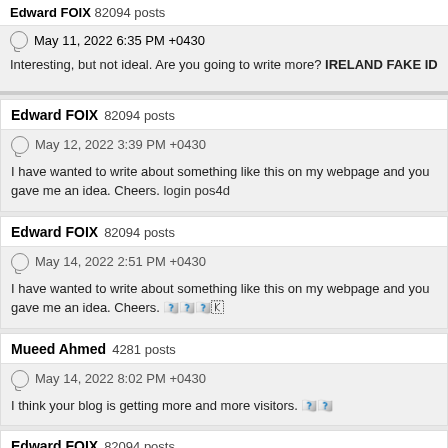Edward FOIX 82094 posts
May 11, 2022 6:35 PM +0430
Interesting, but not ideal. Are you going to write more? IRELAND FAKE ID
Edward FOIX 82094 posts
May 12, 2022 3:39 PM +0430
I have wanted to write about something like this on my webpage and you gave me an idea. Cheers. login pos4d
Edward FOIX 82094 posts
May 14, 2022 2:51 PM +0430
I have wanted to write about something like this on my webpage and you gave me an idea. Cheers.
Mueed Ahmed 4281 posts
May 14, 2022 8:02 PM +0430
I think your blog is getting more and more visitors.
Edward FOIX 82094 posts